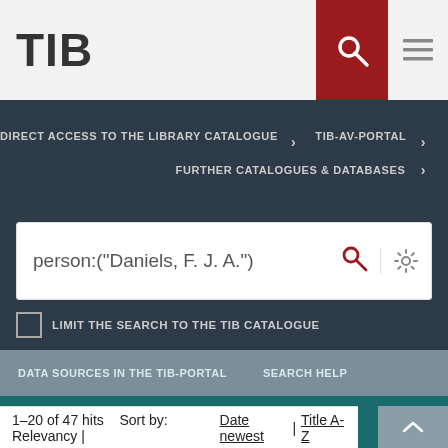TIB
DIRECT ACCESS TO THE LIBRARY CATALOGUE > TIB-AV-PORTAL > FURTHER CATALOGUES & DATABASES >
person:("Daniels, F. J. A.")
LIMIT THE SEARCH TO THE TIB CATALOGUE
DATA SOURCES IN THE TIB-PORTAL   SEARCH HELP
OUR TIP: LOG IN FOR OPTIMAL USE OF ALL FUNCTIONS IN THE TIB PORTAL! >
1–20 of 47 hits   Sort by: Relevancy | Date newest | Title A-Z